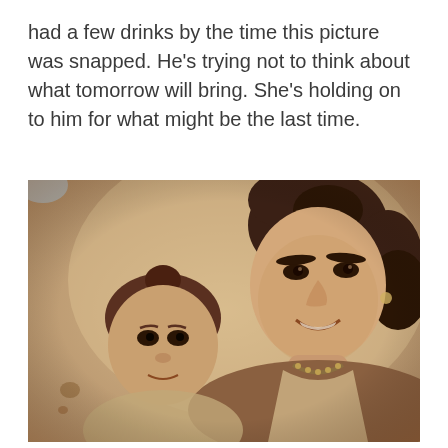had a few drinks by the time this picture was snapped. He's trying not to think about what tomorrow will bring. She's holding on to him for what might be the last time.
[Figure (photo): Vintage sepia-toned photograph showing a smiling woman with dark upswept hair holding a baby/toddler. The woman is wearing a floral or beaded necklace. The photo appears to be from the 1940s era.]